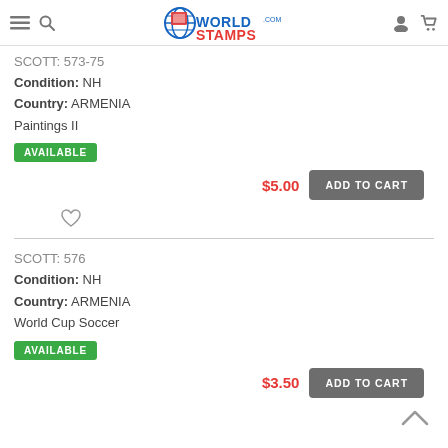WorldStamps.com
SCOTT: 573-75
Condition: NH
Country: ARMENIA
Paintings II
AVAILABLE
$5.00
ADD TO CART
SCOTT: 576
Condition: NH
Country: ARMENIA
World Cup Soccer
AVAILABLE
$3.50
ADD TO CART